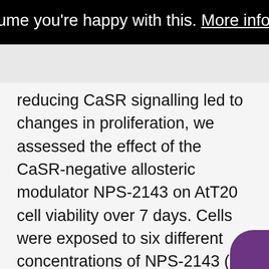we'll assume you're happy with this. More information
reducing CaSR signalling led to changes in proliferation, we assessed the effect of the CaSR-negative allosteric modulator NPS-2143 on AtT20 cell viability over 7 days. Cells were exposed to six different concentrations of NPS-2143 (0, 10, 50, 100, 500 and 1000 nM) and compared to untreated cells (Fig. 5). As exposure of cells to high concentrations of calcium over a period of days is likely to have a detrimental effect on cells, we maintained cells in standard DMEM media, which contains 1.8 mM CaCl2. Proliferation increased in all cells over 7 days, however, NPS-2143 did not have a significant effect on cell number at any concentration tested (Fig. 5A). In contrast, 50 nM NPS-2143 still reduced CaSR signalling in AtT20